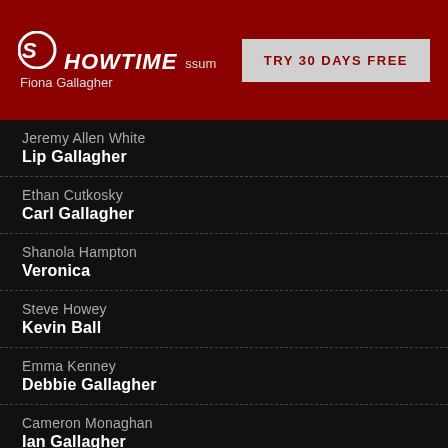SHOWTIME | Possum | Fiona Gallagher | TRY 30 DAYS FREE
Jeremy Allen White — Lip Gallagher
Ethan Cutkosky — Carl Gallagher
Shanola Hampton — Veronica
Steve Howey — Kevin Ball
Emma Kenney — Debbie Gallagher
Cameron Monaghan — Ian Gallagher
Richard Flood — Ford
Christian Isaiah